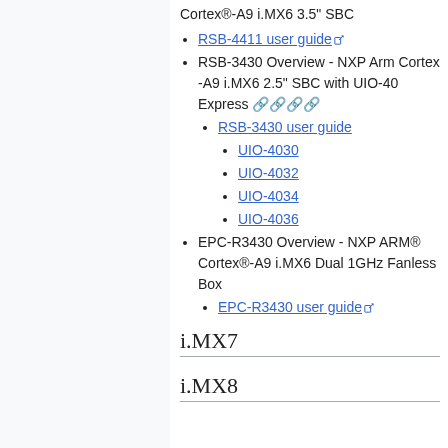Cortex®-A9 i.MX6 3.5" SBC
RSB-4411 user guide [external link]
RSB-3430 Overview - NXP Arm Cortex -A9 i.MX6 2.5" SBC with UIO-40 Express
RSB-3430 user guide
UIO-4030
UIO-4032
UIO-4034
UIO-4036
EPC-R3430 Overview - NXP ARM® Cortex®-A9 i.MX6 Dual 1GHz Fanless Box
EPC-R3430 user guide [external link]
i.MX7
i.MX8